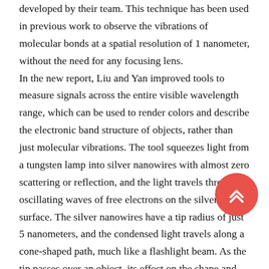developed by their team. This technique has been used in previous work to observe the vibrations of molecular bonds at a spatial resolution of 1 nanometer, without the need for any focusing lens. In the new report, Liu and Yan improved tools to measure signals across the entire visible wavelength range, which can be used to render colors and describe the electronic band structure of objects, rather than just molecular vibrations. The tool squeezes light from a tungsten lamp into silver nanowires with almost zero scattering or reflection, and the light travels through oscillating waves of free electrons on the silver surface. The silver nanowires have a tip radius of just 5 nanometers, and the condensed light travels along a cone-shaped path, much like a flashlight beam. As the tip passes over an object, its effect on the shape and color of the beam is detected and recorded. "It is like using your thumb to control a spray hose," Liu says. "You how to get the desired spray mode by changing the position of your thumb. Similarly, in this experiment, we read about the details of a light
[Figure (other): Red circular scroll-to-top button with double chevron up arrow icon, overlaid in bottom-right area of the page.]